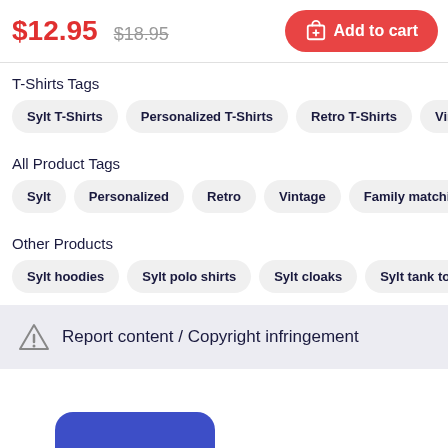$12.95  $18.95  Add to cart
T-Shirts Tags
Sylt T-Shirts
Personalized T-Shirts
Retro T-Shirts
Vintag
All Product Tags
Sylt
Personalized
Retro
Vintage
Family matching
Other Products
Sylt hoodies
Sylt polo shirts
Sylt cloaks
Sylt tank tops
Report content / Copyright infringement